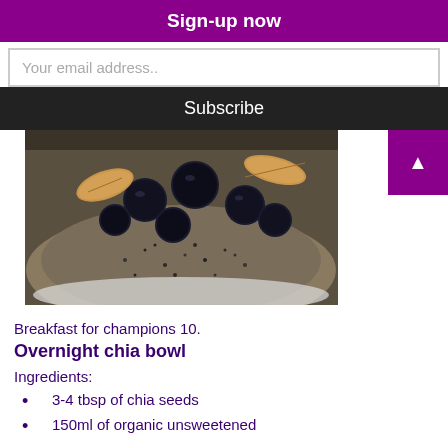Sign-up now
Your email address..
Subscribe
[Figure (photo): Close-up photo of a bowl containing a chia pudding topped with blueberries and almonds]
Breakfast for champions 10.
Overnight chia bowl
Ingredients:
3-4 tbsp of chia seeds
150ml of organic unsweetened